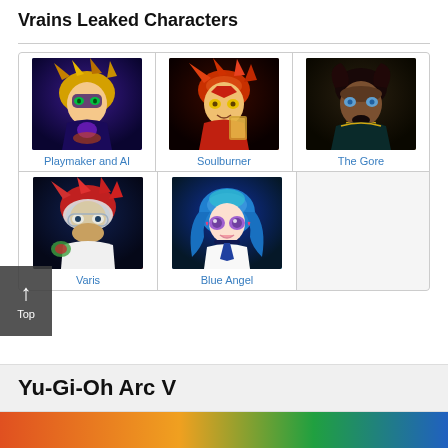Vrains Leaked Characters
[Figure (photo): Anime character Playmaker and AI from Yu-Gi-Oh VRAINS]
Playmaker and AI
[Figure (photo): Anime character Soulburner from Yu-Gi-Oh VRAINS]
Soulburner
[Figure (photo): Anime character The Gore from Yu-Gi-Oh VRAINS]
The Gore
[Figure (photo): Anime character Varis from Yu-Gi-Oh VRAINS]
Varis
[Figure (photo): Anime character Blue Angel from Yu-Gi-Oh VRAINS]
Blue Angel
Yu-Gi-Oh Arc V